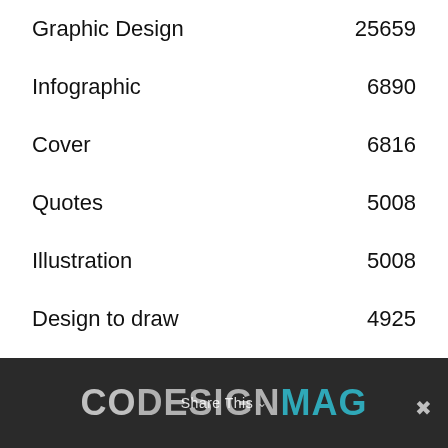Graphic Design    25659
Infographic    6890
Cover    6816
Quotes    5008
Illustration    5008
Design to draw    4925
CODESIGNMAG   Share This